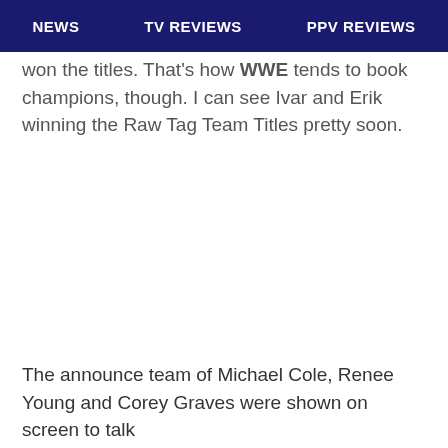NEWS   TV REVIEWS   PPV REVIEWS
won the titles. That's how WWE tends to book champions, though. I can see Ivar and Erik winning the Raw Tag Team Titles pretty soon.
The announce team of Michael Cole, Renee Young and Corey Graves were shown on screen to talk